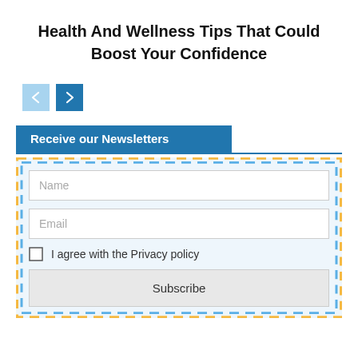Health And Wellness Tips That Could Boost Your Confidence
[Figure (other): Navigation previous and next arrow buttons, light blue and blue]
Receive our Newsletters
Name (form field placeholder)
Email (form field placeholder)
I agree with the Privacy policy
Subscribe (button)